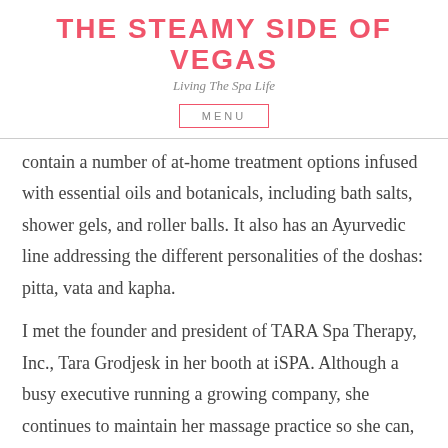THE STEAMY SIDE OF VEGAS
Living The Spa Life
MENU
contain a number of at-home treatment options infused with essential oils and botanicals, including bath salts, shower gels, and roller balls. It also has an Ayurvedic line addressing the different personalities of the doshas: pitta, vata and kapha.
I met the founder and president of TARA Spa Therapy, Inc., Tara Grodjesk in her booth at iSPA. Although a busy executive running a growing company, she continues to maintain her massage practice so she can, “stay in touch with that side of